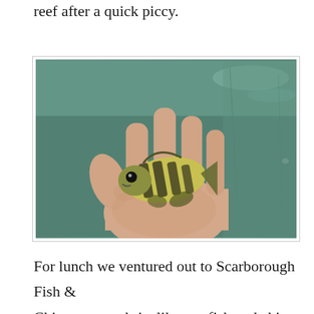reef after a quick piccy.
[Figure (photo): A small striped fish (perch-like, with dark vertical stripes on a yellowish body) held in the palm of a person's hand, photographed against a green-tinted water background.]
For lunch we ventured out to Scarborough Fish & Chips, now us brits like our fish and chips and any